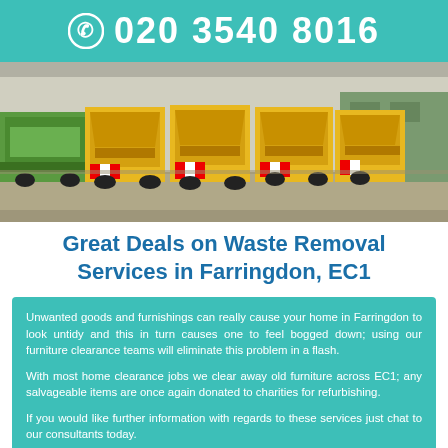020 3540 8016
[Figure (photo): A row of yellow and green refuse collection trucks/waste removal vehicles parked in a yard, viewed from the rear.]
Great Deals on Waste Removal Services in Farringdon, EC1
Unwanted goods and furnishings can really cause your home in Farringdon to look untidy and this in turn causes one to feel bogged down; using our furniture clearance teams will eliminate this problem in a flash.
With most home clearance jobs we clear away old furniture across EC1; any salvageable items are once again donated to charities for refurbishing.
If you would like further information with regards to these services just chat to our consultants today.